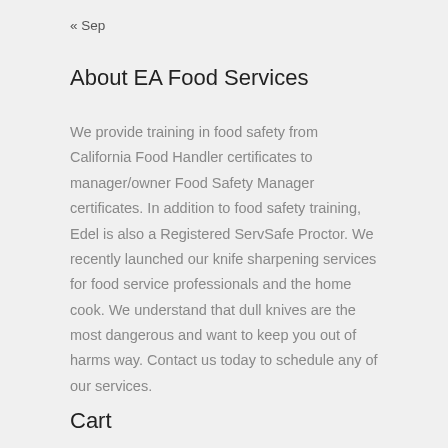« Sep
About EA Food Services
We provide training in food safety from California Food Handler certificates to manager/owner Food Safety Manager certificates. In addition to food safety training, Edel is also a Registered ServSafe Proctor. We recently launched our knife sharpening services for food service professionals and the home cook. We understand that dull knives are the most dangerous and want to keep you out of harms way. Contact us today to schedule any of our services.
Cart